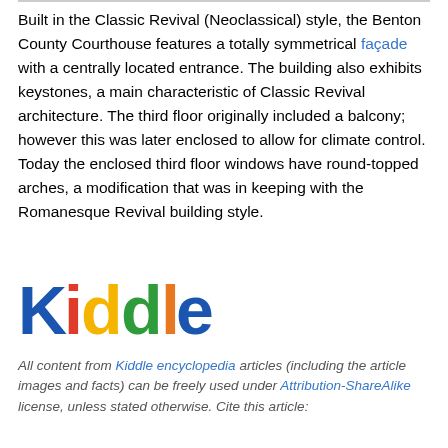Built in the Classic Revival (Neoclassical) style, the Benton County Courthouse features a totally symmetrical façade with a centrally located entrance. The building also exhibits keystones, a main characteristic of Classic Revival architecture. The third floor originally included a balcony; however this was later enclosed to allow for climate control. Today the enclosed third floor windows have round-topped arches, a modification that was in keeping with the Romanesque Revival building style.
[Figure (logo): Kiddle logo with colorful letters: blue K, red i, yellow d, green d, orange l, blue e]
All content from Kiddle encyclopedia articles (including the article images and facts) can be freely used under Attribution-ShareAlike license, unless stated otherwise. Cite this article: